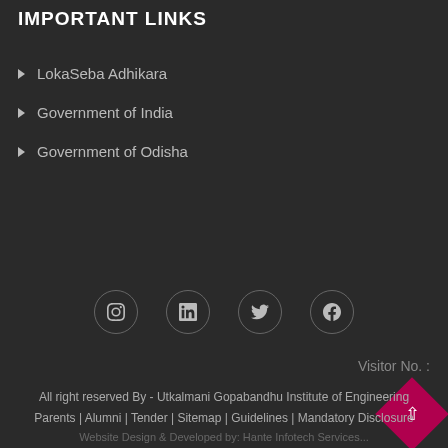IMPORTANT LINKS
LokaSeba Adhikara
Government of India
Government of Odisha
[Figure (other): Social media icons row: Instagram, LinkedIn, Twitter, Facebook — circular outlined icons on dark background]
Visitor No. :
All right reserved By - Utkalmani Gopabandhu Institute of Engineering
Parents | Alumni | Tender | Sitemap | Guidelines | Mandatory Disclosure
Website Design & Developed by: Hante Infotech Services...